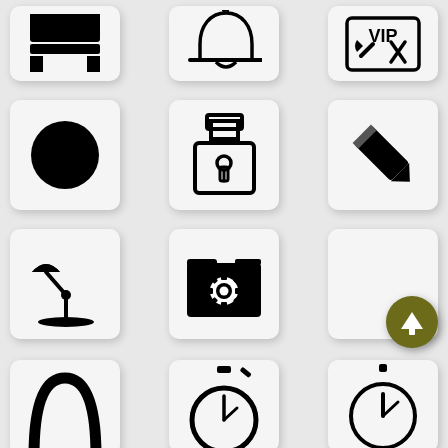[Figure (illustration): Grid of icons: bed/headboard, bell, VIP wrench sign, black circle, padlock, pencil, desk lamp, folder with gear, empty white box, scroll-to-top button (yellow circle with up arrow), partial icons: arch shape, stopwatch, compass/clock]
[Figure (infographic): Scroll-to-top circular button with yellow background and white up arrow]